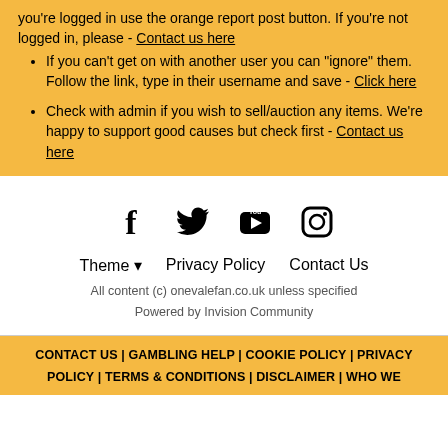you're logged in use the orange report post button. If you're not logged in, please - Contact us here
If you can't get on with another user you can "ignore" them. Follow the link, type in their username and save - Click here
Check with admin if you wish to sell/auction any items. We're happy to support good causes but check first - Contact us here
[Figure (infographic): Social media icons: Facebook, Twitter, YouTube, Instagram]
Theme ▼   Privacy Policy   Contact Us
All content (c) onevalefan.co.uk unless specified
Powered by Invision Community
CONTACT US | GAMBLING HELP | COOKIE POLICY | PRIVACY POLICY | TERMS & CONDITIONS | DISCLAIMER | WHO WE